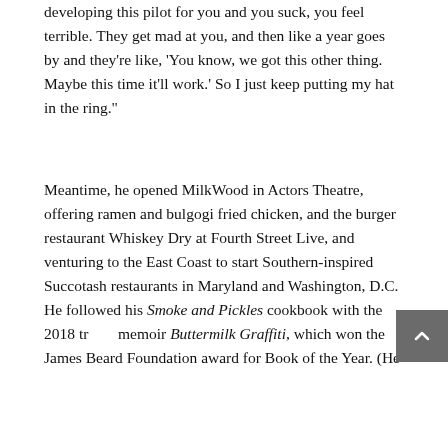developing this pilot for you and you suck, you feel terrible. They get mad at you, and then like a year goes by and they're like, 'You know, we got this other thing. Maybe this time it'll work.' So I just keep putting my hat in the ring."
Meantime, he opened MilkWood in Actors Theatre, offering ramen and bulgogi fried chicken, and the burger restaurant Whiskey Dry at Fourth Street Live, and venturing to the East Coast to start Southern-inspired Succotash restaurants in Maryland and Washington, D.C. He followed his Smoke and Pickles cookbook with the 2018 travel memoir Buttermilk Graffiti, which won the James Beard Foundation award for Book of the Year. (He